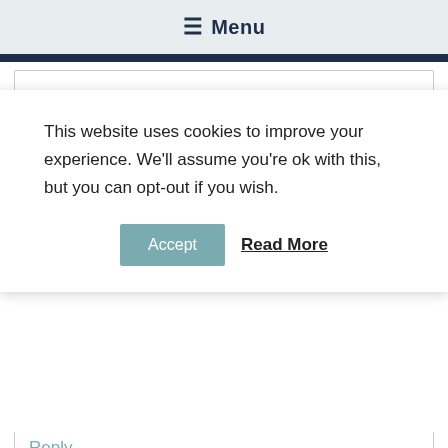≡ Menu
ontheryterpaige says
This website uses cookies to improve your experience. We'll assume you're ok with this, but you can opt-out if you wish.
Accept   Read More
Reply
Yami says
August 26, 2016 at 3:41 pm